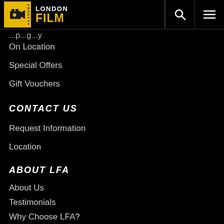London Film Academy
On Location
Special Offers
Gift Vouchers
CONTACT US
Request Information
Location
ABOUT LFA
About Us
Testimonials
Why Choose LFA?
Our Team
Our Tutors & Guest Speakers